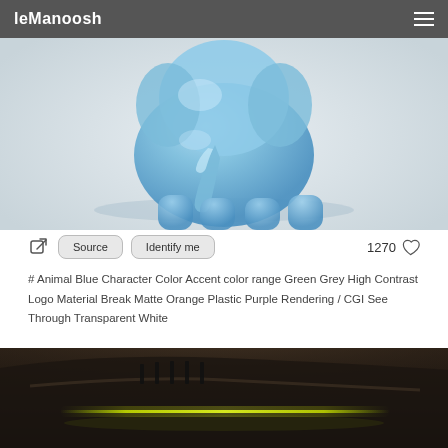leManoosh
[Figure (photo): 3D rendered blue transparent plastic elephant toy figure on white background, viewed from behind/side showing legs and body]
Source   Identify me   1270 ♡
# Animal Blue Character Color Accent color range Green Grey High Contrast Logo Material Break Matte Orange Plastic Purple Rendering / CGI See Through Transparent White
[Figure (photo): Close-up photo of dark car interior dashboard or surface with green/yellow glowing neon accent lights]